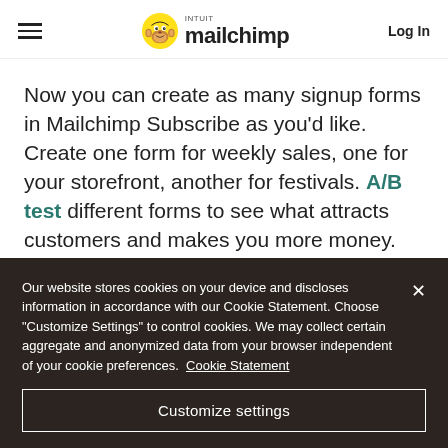Mailchimp navigation bar with hamburger menu, Intuit Mailchimp logo, and Log In link
Now you can create as many signup forms in Mailchimp Subscribe as you'd like. Create one form for weekly sales, one for your storefront, another for festivals. A/B test different forms to see what attracts customers and makes you more money. And because we realized that most businesses aren't going out and buying fancy new tablets to run this app, we made sure Mailchimp Subscribe
Our website stores cookies on your device and discloses information in accordance with our Cookie Statement. Choose "Customize Settings" to control cookies. We may collect certain aggregate and anonymized data from your browser independent of your cookie preferences. Cookie Statement
Customize settings